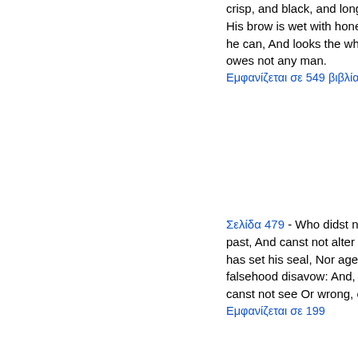crisp, and black, and long, His face is like the tan ; His brow is wet with honest sweat, He earns whate'er he can, And looks the whole world in the face, For he owes not any man.
Εμφανίζεται σε 549 βιβλία από 1840-2008
Σελίδα 479 - Who didst not change through all the past, And canst not alter now. The love where Death has set his seal, Nor age can chill, nor rival steal, Nor falsehood disavow: And, what were worse, thou canst not see Or wrong, or change, or fault in me.
Εμφανίζεται σε 199